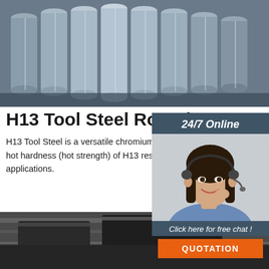[Figure (photo): Steel round bars stacked horizontally in a warehouse, grey metallic color]
H13 Tool Steel Round B[ars]
H13 Tool Steel is a versatile chromium-molybdenum hot work steel that is widely used for hot work and cold work tooling applications. The hot hardness (hot strength) of H13 resists thermal fatigue cracking which occurs as a result of the heating and cooling cycles in hot work tooling applications.
[Figure (photo): Woman with headset smiling, customer service representative, 24/7 Online chat widget with QUOTATION button]
Get Price
[Figure (photo): Dark industrial metal surfaces, bottom photo of steel products]